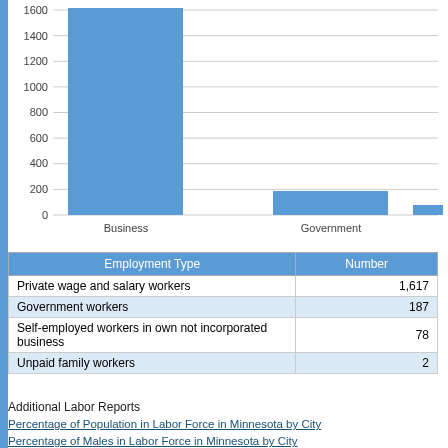[Figure (bar-chart): Employment Type]
| Employment Type | Number |
| --- | --- |
| Private wage and salary workers | 1,617 |
| Government workers | 187 |
| Self-employed workers in own not incorporated business | 78 |
| Unpaid family workers | 2 |
Additional Labor Reports
Percentage of Population in Labor Force in Minnesota by City
Percentage of Males in Labor Force in Minnesota by City
Percentage of Females in Labor Force in Minnesota by City